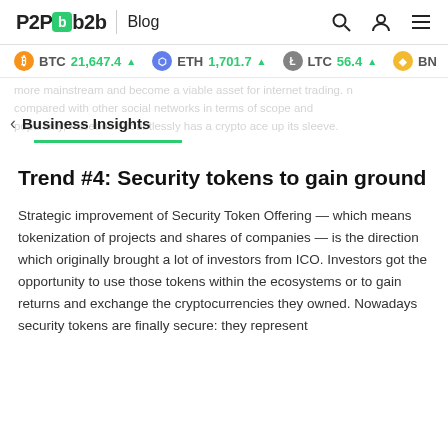P2PB2B Blog
BTC 21,647.4 ▲  ETH 1,701.7 ▲  LTC 56.4 ▲  BNB
more mainstream and become a viable asset for internet trading. n compared with other social networks in terms of scope and popularity, Facebook doubtlessly has a crypto ace up its sleeve.
Business Insights
Trend #4: Security tokens to gain ground
Strategic improvement of Security Token Offering — which means tokenization of projects and shares of companies — is the direction which originally brought a lot of investors from ICO. Investors got the opportunity to use those tokens within the ecosystems or to gain returns and exchange the cryptocurrencies they owned. Nowadays security tokens are finally secure: they represent